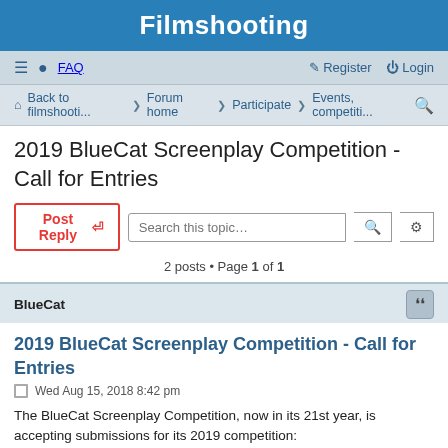Filmshooting
≡  FAQ    Register  Login
Back to filmshooti... · Forum home · Participate · Events, competiti...
2019 BlueCat Screenplay Competition - Call for Entries
Post Reply   Search this topic…
2 posts • Page 1 of 1
BlueCat
2019 BlueCat Screenplay Competition - Call for Entries
Wed Aug 15, 2018 8:42 pm
The BlueCat Screenplay Competition, now in its 21st year, is accepting submissions for its 2019 competition:
http://www.bluecatscreenplay.com/2019-call-for-entries/
Founded in 1998 by award-winning writer Gordy Hoffman, BlueCat has